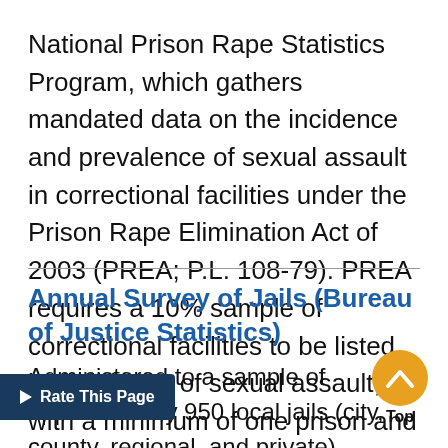National Prison Rape Statistics Program, which gathers mandated data on the incidence and prevalence of sexual assault in correctional facilities under the Prison Rape Elimination Act of 2003 (PREA; P.L. 108-79). PREA requires a 10% sample of correctional facilities to be listed by incidence of sexual assault, with a minimum of one prison and one jail…
Annual Survey of Jails (Bureau of Justice Statistics)
Administered to a sample of approximately 950 local jails (city, county, regional, and private) nationwide, the Annual Survey of Jails (ASJ) provides national statistics on the number of incarcerated persons...